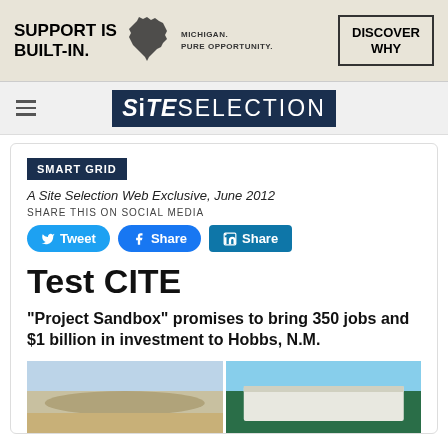[Figure (other): Michigan economic development advertisement banner: 'SUPPORT IS BUILT-IN.' with Michigan state silhouette icon, 'MICHIGAN. PURE OPPORTUNITY.' subtext, and 'DISCOVER WHY' call-to-action button]
SiTESELECTION
SMART GRID
A Site Selection Web Exclusive, June 2012
SHARE THIS ON SOCIAL MEDIA
Tweet   Share   Share
Test CITE
“Project Sandbox” promises to bring 350 jobs and $1 billion in investment to Hobbs, N.M.
[Figure (photo): Two side-by-side architectural renderings: left showing a desert landscape with mountains, right showing a modern building with trees]